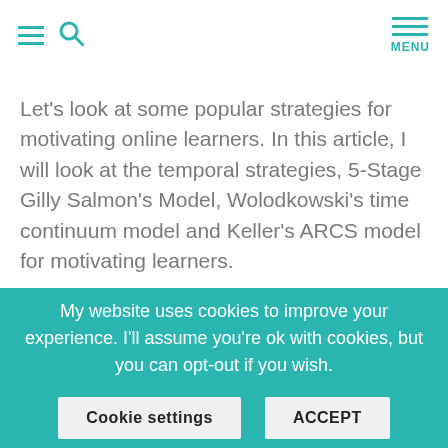≡ 🔍  MENU
Let's look at some popular strategies for motivating online learners. In this article, I will look at the temporal strategies, 5-Stage Gilly Salmon's Model, Wolodkowski's time continuum model and Keller's ARCS model for motivating learners.
Temporal Strategies
This is basically about applying different
My website uses cookies to improve your experience. I'll assume you're ok with cookies, but you can opt-out if you wish.